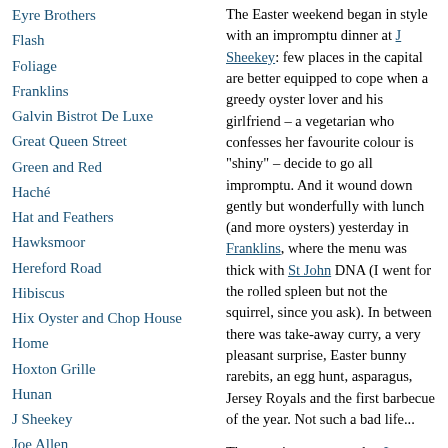Eyre Brothers
Flash
Foliage
Franklins
Galvin Bistrot De Luxe
Great Queen Street
Green and Red
Haché
Hat and Feathers
Hawksmoor
Hereford Road
Hibiscus
Hix Oyster and Chop House
Home
Hoxton Grille
Hunan
J Sheekey
Joe Allen
The Easter weekend began in style with an impromptu dinner at J Sheekey: few places in the capital are better equipped to cope when a greedy oyster lover and his girlfriend – a vegetarian who confesses her favourite colour is "shiny" – decide to go all impromptu. And it wound down gently but wonderfully with lunch (and more oysters) yesterday in Franklins, where the menu was thick with St John DNA (I went for the rolled spleen but not the squirrel, since you ask). In between there was take-away curry, a very pleasant surprise, Easter bunny rarebits, an egg hunt, asparagus, Jersey Royals and the first barbecue of the year. Not such a bad life...
The surprise was a meal at Le Querce, an Italian restaurant at the far end of Brockley Road. Brockley is home of indy living where the...